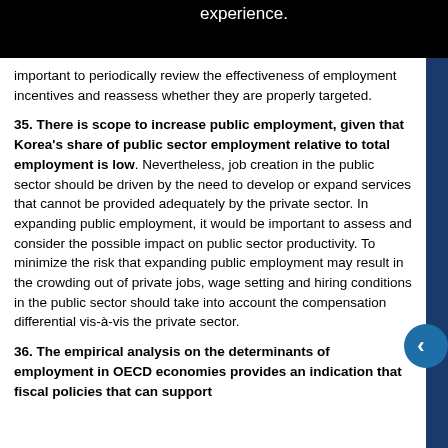important to periodically review the effectiveness of employment incentives and reassess whether they are properly targeted.
35. There is scope to increase public employment, given that Korea's share of public sector employment relative to total employment is low. Nevertheless, job creation in the public sector should be driven by the need to develop or expand services that cannot be provided adequately by the private sector. In expanding public employment, it would be important to assess and consider the possible impact on public sector productivity. To minimize the risk that expanding public employment may result in the crowding out of private jobs, wage setting and hiring conditions in the public sector should take into account the compensation differential vis-à-vis the private sector.
36. The empirical analysis on the determinants of employment in OECD economies provides an indication that fiscal policies that can support